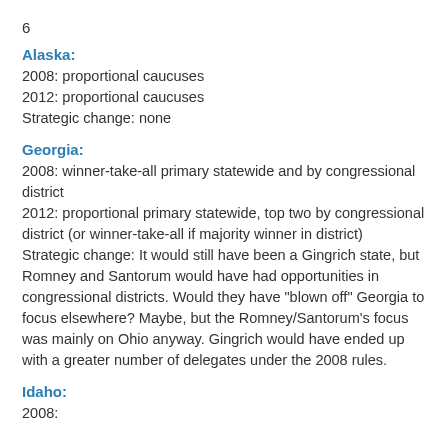6
Alaska:
2008: proportional caucuses
2012: proportional caucuses
Strategic change: none
Georgia:
2008: winner-take-all primary statewide and by congressional district
2012: proportional primary statewide, top two by congressional district (or winner-take-all if majority winner in district)
Strategic change: It would still have been a Gingrich state, but Romney and Santorum would have had opportunities in congressional districts. Would they have "blown off" Georgia to focus elsewhere? Maybe, but the Romney/Santorum's focus was mainly on Ohio anyway. Gingrich would have ended up with a greater number of delegates under the 2008 rules.
Idaho:
2008: